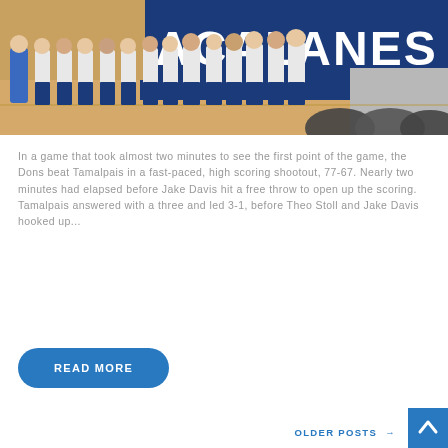[Figure (photo): Basketball team lined up in white and blue uniforms in a gymnasium with Acalanes banner in the background]
In a game that took almost two minutes to see the first point of the game, the Dons beat Tamalpais in a fast-paced, high scoring shootout, 77-67. Nearly two minutes had elapsed before Jake Davis hit a free throw to open up the scoring. Tamalpais answered with a three and led 3-1, before Theo Stoll and Jake Davis hooked up...
READ MORE
OLDER POSTS →